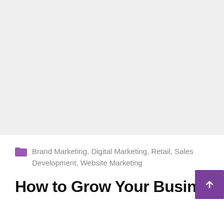[Figure (other): Large gray placeholder image area at top of page]
Brand Marketing, Digital Marketing, Retail, Sales Development, Website Marketing
How to Grow Your Busines…